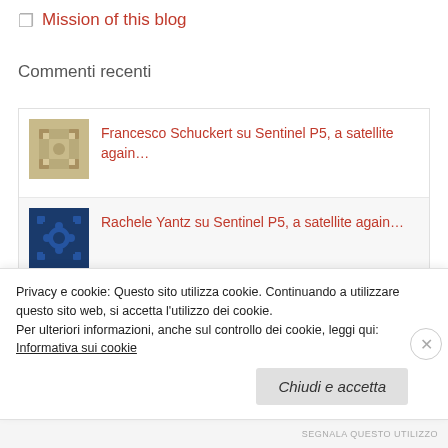Mission of this blog
Commenti recenti
Francesco Schuckert su Sentinel P5, a satellite again…
Rachele Yantz su Sentinel P5, a satellite again…
abhorring su Sentinel P5, a satellite again…
Privacy e cookie: Questo sito utilizza cookie. Continuando a utilizzare questo sito web, si accetta l'utilizzo dei cookie.
Per ulteriori informazioni, anche sul controllo dei cookie, leggi qui:
Informativa sui cookie
Chiudi e accetta